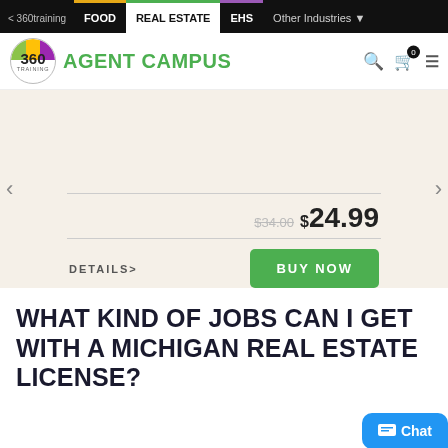< 360training  FOOD  REAL ESTATE  EHS  Other Industries
[Figure (logo): 360 Training Agent Campus logo with search, cart, and menu icons]
[Figure (screenshot): Carousel slide showing product price $34.00 struck through, $24.99, with DETAILS> link and BUY NOW button. Navigation arrows on sides. Three pagination dots below.]
WHAT KIND OF JOBS CAN I GET WITH A MICHIGAN REAL ESTATE LICENSE?